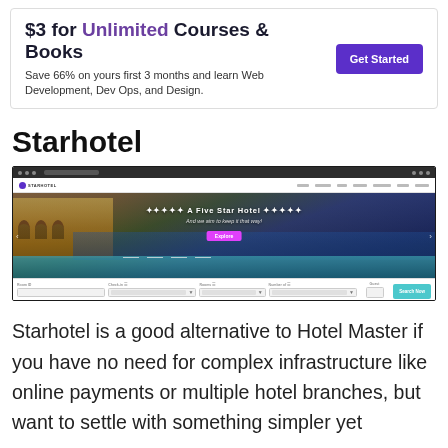[Figure (screenshot): Advertisement banner: '$3 for Unlimited Courses & Books. Save 66% on yours first 3 months and learn Web Development, Dev Ops, and Design.' with a purple 'Get Started' button.]
Starhotel
[Figure (screenshot): Screenshot of the Starhotel website showing a navigation bar with the Starhotel logo, a hero image of a five-star hotel with a pool and resort at dusk, text 'A Five Star Hotel / And we aim to keep it that way!' with a pink button, and a booking bar at the bottom with fields for Room ID, Check-in, Rooms, Number of Guests, and a Search button.]
Starhotel is a good alternative to Hotel Master if you have no need for complex infrastructure like online payments or multiple hotel branches, but want to settle with something simpler yet